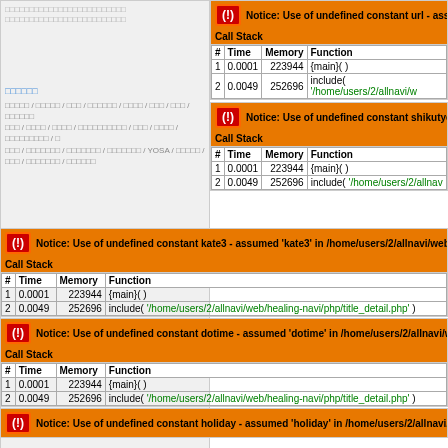[Japanese navigation text - left panel content]
[Figure (screenshot): PHP Notice error: Use of undefined constant url]
| # | Time | Memory | Function |
| --- | --- | --- | --- |
| 1 | 0.0001 | 223944 | {main}( ) |
| 2 | 0.0049 | 252696 | include( '/home/users/2/allnavi/w... |
[Figure (screenshot): PHP Notice error: Use of undefined constant shikutyo]
| # | Time | Memory | Function |
| --- | --- | --- | --- |
| 1 | 0.0001 | 223944 | {main}( ) |
| 2 | 0.0049 | 252696 | include( '/home/users/2/allnav... |
[Figure (screenshot): PHP Notice error: Use of undefined constant kate3 - assumed 'kate3' in /home/users/2/allnavi/web/healing-]
| # | Time | Memory | Function |
| --- | --- | --- | --- |
| 1 | 0.0001 | 223944 | {main}( ) |
| 2 | 0.0049 | 252696 | include( '/home/users/2/allnavi/web/healing-navi/php/title_detail.php' ) |
[Figure (screenshot): PHP Notice error: Use of undefined constant dotime - assumed 'dotime' in /home/users/2/allnavi/web/heali]
| # | Time | Memory | Function |
| --- | --- | --- | --- |
| 1 | 0.0001 | 223944 | {main}( ) |
| 2 | 0.0049 | 252696 | include( '/home/users/2/allnavi/web/healing-navi/php/title_detail.php' ) |
[Figure (screenshot): PHP Notice error: Use of undefined constant holiday - assumed 'holiday' in /home/users/2/allnavi/web/heal]